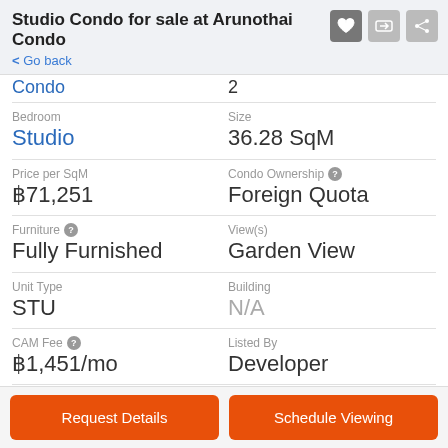Studio Condo for sale at Arunothai Condo
< Go back
| Field | Value |
| --- | --- |
| Condo | 2 |
| Bedroom | Studio |
| Size | 36.28 SqM |
| Price per SqM | ฿71,251 |
| Condo Ownership | Foreign Quota |
| Furniture | Fully Furnished |
| View(s) | Garden View |
| Unit Type | STU |
| Building | N/A |
| CAM Fee | ฿1,451/mo |
| Listed By | Developer |
| Date Listed |  |
| Last Updated |  |
Request Details
Schedule Viewing